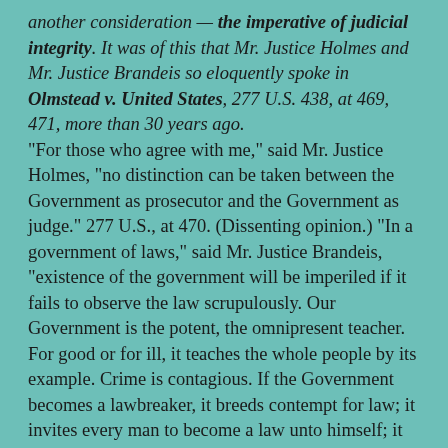another consideration — the imperative of judicial integrity. It was of this that Mr. Justice Holmes and Mr. Justice Brandeis so eloquently spoke in Olmstead v. United States, 277 U.S. 438, at 469, 471, more than 30 years ago. "For those who agree with me," said Mr. Justice Holmes, "no distinction can be taken between the Government as prosecutor and the Government as judge." 277 U.S., at 470. (Dissenting opinion.) "In a government of laws," said Mr. Justice Brandeis, "existence of the government will be imperiled if it fails to observe the law scrupulously. Our Government is the potent, the omnipresent teacher. For good or for ill, it teaches the whole people by its example. Crime is contagious. If the Government becomes a lawbreaker, it breeds contempt for law; it invites every man to become a law unto himself; it invites anarchy. To declare that in the administration of the criminal law the end justifies the means — to declare that the Government may commit